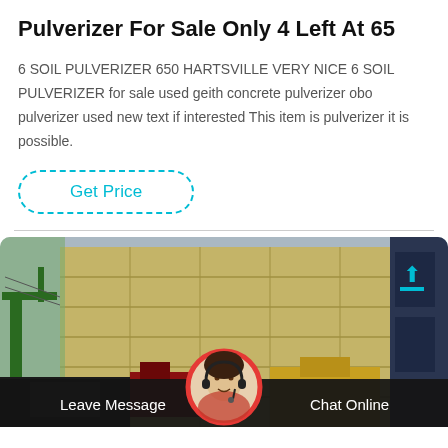Pulverizer For Sale Only 4 Left At 65
6 SOIL PULVERIZER 650 HARTSVILLE VERY NICE 6 SOIL PULVERIZER for sale used geith concrete pulverizer obo pulverizer used new text if interested This item is pulverizer it is possible.
Get Price
[Figure (photo): Industrial machinery and building facade scene with equipment including green crane, yellow machinery, and red equipment in the foreground. Chat support interface overlay at the bottom with Leave Message and Chat Online buttons, and a customer service avatar.]